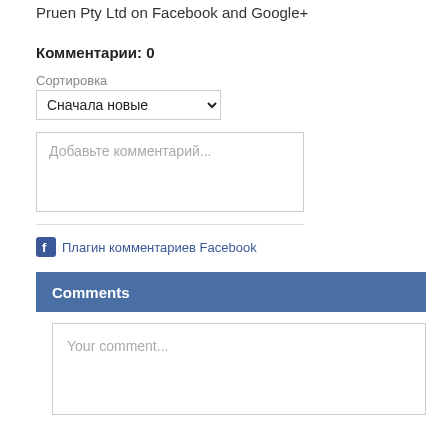Pruen Pty Ltd on Facebook and Google+
Комментарии: 0
Сортировка
Сначала новые
Добавьте комментарий...
Плагин комментариев Facebook
Comments
Your comment...